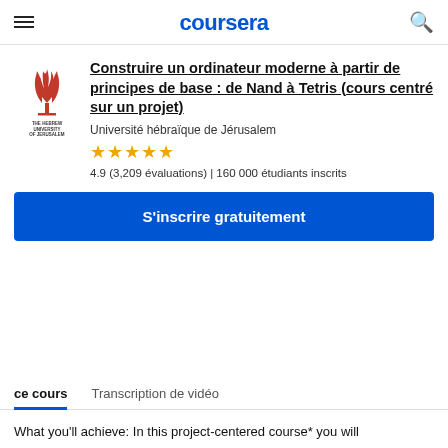coursera
[Figure (logo): Hebrew University of Jerusalem logo — stylized menorah/flame with text THE HEBREW UNIVERSITY OF JERUSALEM below]
Construire un ordinateur moderne à partir de principes de base : de Nand à Tetris (cours centré sur un projet)
Université hébraïque de Jérusalem
★★★★★
4.9 (3,209 évaluations) | 160 000 étudiants inscrits
S'inscrire gratuitement
ce cours
Transcription de vidéo
What you'll achieve: In this project-centered course* you will